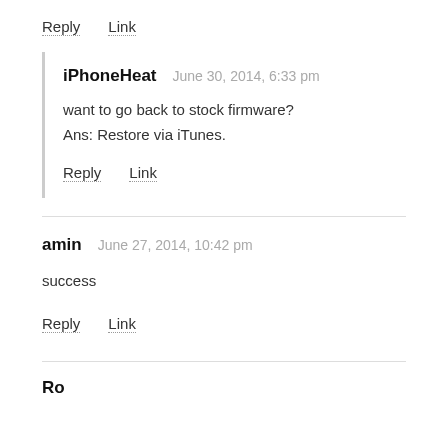Reply   Link
iPhoneHeat   June 30, 2014, 6:33 pm
want to go back to stock firmware?
Ans: Restore via iTunes.
Reply   Link
amin   June 27, 2014, 10:42 pm
success
Reply   Link